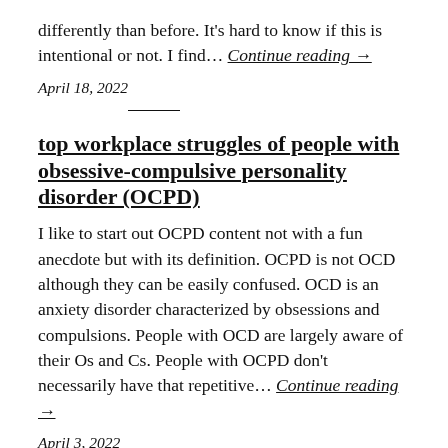differently than before. It's hard to know if this is intentional or not. I find… Continue reading →
April 18, 2022
top workplace struggles of people with obsessive-compulsive personality disorder (OCPD)
I like to start out OCPD content not with a fun anecdote but with its definition. OCPD is not OCD although they can be easily confused. OCD is an anxiety disorder characterized by obsessions and compulsions. People with OCD are largely aware of their Os and Cs. People with OCPD don't necessarily have that repetitive… Continue reading →
April 3, 2022